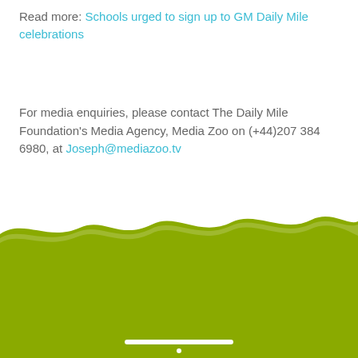Read more: Schools urged to sign up to GM Daily Mile celebrations
For media enquiries, please contact The Daily Mile Foundation's Media Agency, Media Zoo on (+44)207 384 6980, at Joseph@mediazoo.tv
[Figure (illustration): Green grass / lawn illustration forming the bottom portion of the page, with a wavy white edge at the top of the green area. A white horizontal bar appears near the very bottom center.]